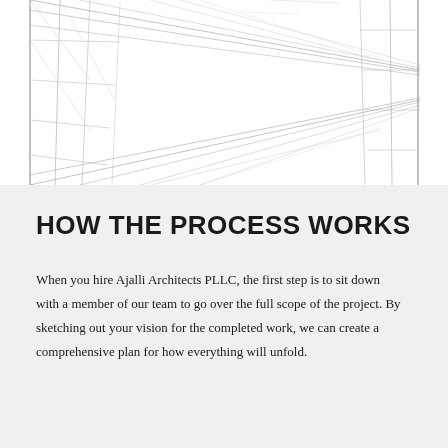[Figure (illustration): Architectural line drawing of a corridor or hallway in perspective view, showing structural elements, walls, and ceiling in thin gray lines on a white background.]
HOW THE PROCESS WORKS
When you hire Ajalli Architects PLLC, the first step is to sit down with a member of our team to go over the full scope of the project. By sketching out your vision for the completed work, we can create a comprehensive plan for how everything will unfold.